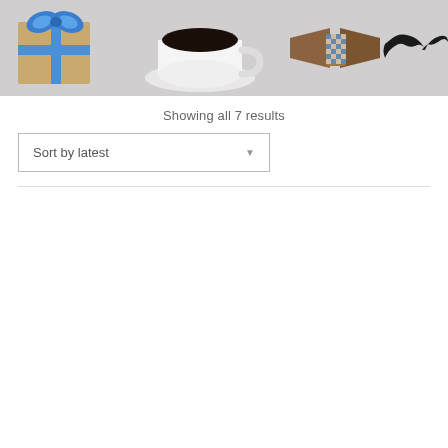[Figure (photo): Father's Day themed photo showing a wrapped gift with blue ribbon, a white coffee cup on a saucer, a wooden bow tie with blue checkered pattern, and a black felt mustache on a gray background.]
Showing all 7 results
Sort by latest ▼